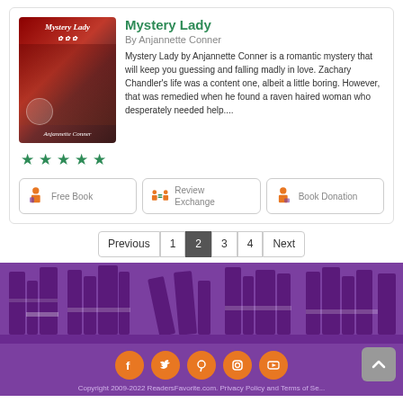Mystery Lady
By Anjannette Conner
Mystery Lady by Anjannette Conner is a romantic mystery that will keep you guessing and falling madly in love. Zachary Chandler's life was a content one, albeit a little boring. However, that was remedied when he found a raven haired woman who desperately needed help....
[Figure (illustration): Book cover for Mystery Lady by Anjannette Conner]
★ ★ ★ ★ ★
Free Book | Review Exchange | Book Donation
Previous 1 2 3 4 Next
[Figure (illustration): Purple decorative books silhouette banner]
[Figure (illustration): Social media icons: Facebook, Twitter, Pinterest, Instagram, YouTube]
Copyright 2009-2022 ReadersFavorite.com. Privacy Policy and Terms of Se...